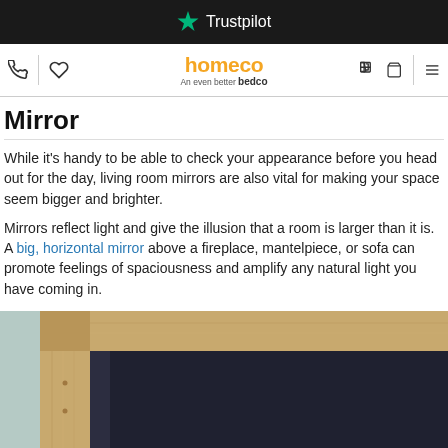Trustpilot
[Figure (screenshot): Homeco website navigation bar with phone icon, heart icon, homeco logo (An even better bedco), cart icon, and hamburger menu]
Mirror
While it's handy to be able to check your appearance before you head out for the day, living room mirrors are also vital for making your space seem bigger and brighter.
Mirrors reflect light and give the illusion that a room is larger than it is. A big, horizontal mirror above a fireplace, mantelpiece, or sofa can promote feelings of spaciousness and amplify any natural light you have coming in.
[Figure (photo): Photo of a wooden framed mirror leaning against a light teal/grey wall]